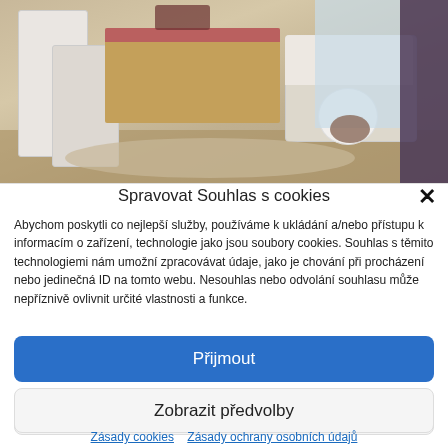[Figure (photo): Interior photo of a room with wooden dining table, white chairs, a sofa with white cover, a round white coffee table, a rug, and a dark curtain on the right side with a window.]
Spravovat Souhlas s cookies
Abychom poskytli co nejlepší služby, používáme k ukládání a/nebo přístupu k informacím o zařízení, technologie jako jsou soubory cookies. Souhlas s těmito technologiemi nám umožní zpracovávat údaje, jako je chování při procházení nebo jedinečná ID na tomto webu. Nesouhlas nebo odvolání souhlasu může nepříznivě ovlivnit určité vlastnosti a funkce.
Přijmout
Odmítnout
Zobrazit předvolby
Zásady cookies   Zásady ochrany osobních údajů